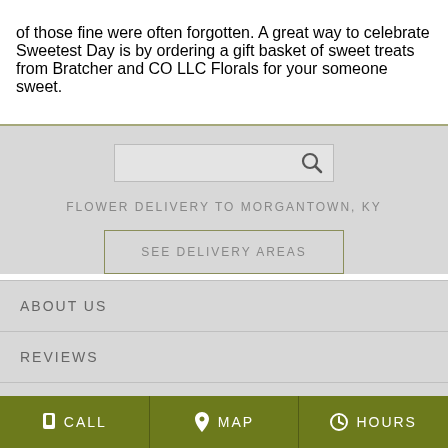of those fine were often forgotten. A great way to celebrate Sweetest Day is by ordering a gift basket of sweet treats from Bratcher and CO LLC Florals for your someone sweet.
[Figure (screenshot): Search box with magnifying glass icon on grey background]
FLOWER DELIVERY TO MORGANTOWN, KY
SEE DELIVERY AREAS
ABOUT US
REVIEWS
SPECIAL OFFERS
CALL  MAP  HOURS